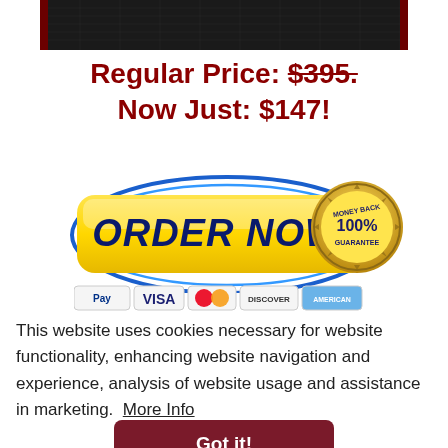[Figure (screenshot): Top portion of a dark-bordered grid/chart area cropped at the top of the page]
Regular Price: $395. Now Just: $147!
[Figure (illustration): Yellow 'ORDER NOW' button with blue oval border and gold 100% Money Back Guarantee badge on the right]
[Figure (illustration): Payment method icons: PayPal, VISA, MasterCard, Discover, American Express]
This website uses cookies necessary for website functionality, enhancing website navigation and experience, analysis of website usage and assistance in marketing. More Info
[Figure (illustration): Dark red 'Got it!' button for cookie consent]
points as there are a